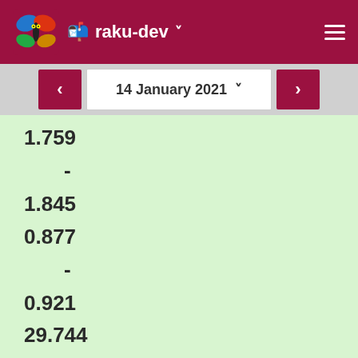raku-dev
14 January 2021
1.759
-
1.845
0.877
-
0.921
29.744